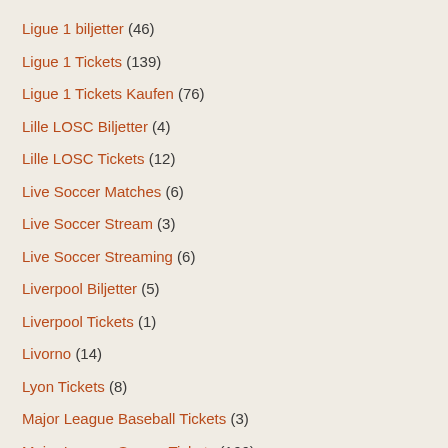Ligue 1 biljetter (46)
Ligue 1 Tickets (139)
Ligue 1 Tickets Kaufen (76)
Lille LOSC Biljetter (4)
Lille LOSC Tickets (12)
Live Soccer Matches (6)
Live Soccer Stream (3)
Live Soccer Streaming (6)
Liverpool Biljetter (5)
Liverpool Tickets (1)
Livorno (14)
Lyon Tickets (8)
Major League Baseball Tickets (3)
Major League Soccer Tickets (166)